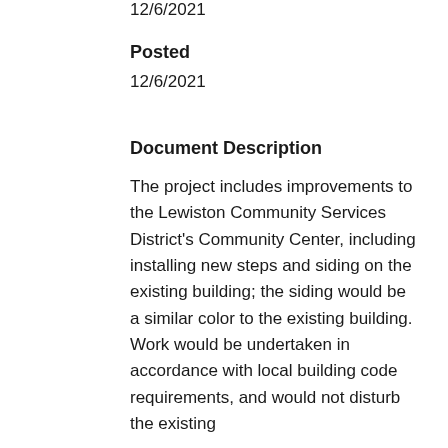12/6/2021
Posted
12/6/2021
Document Description
The project includes improvements to the Lewiston Community Services District's Community Center, including installing new steps and siding on the existing building; the siding would be a similar color to the existing building.  Work would be undertaken in accordance with local building code requirements, and would not disturb the existing